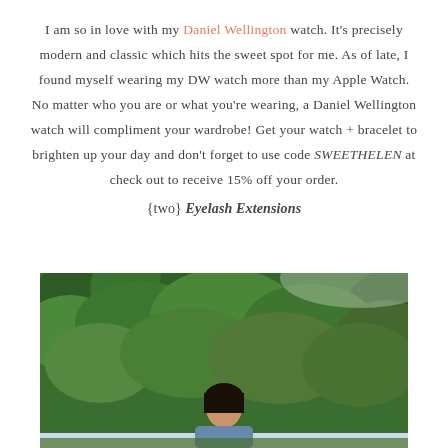I am so in love with my Daniel Wellington watch. It's precisely modern and classic which hits the sweet spot for me. As of late, I found myself wearing my DW watch more than my Apple Watch. No matter who you are or what you're wearing, a Daniel Wellington watch will compliment your wardrobe! Get your watch + bracelet to brighten up your day and don't forget to use code SWEETHELEN at check out to receive 15% off your order.
{two} Eyelash Extensions
[Figure (photo): A person standing outdoors in front of dense green pine/conifer trees with some sky visible. The person appears to be a young woman with dark hair, partially cropped at the bottom of the image.]